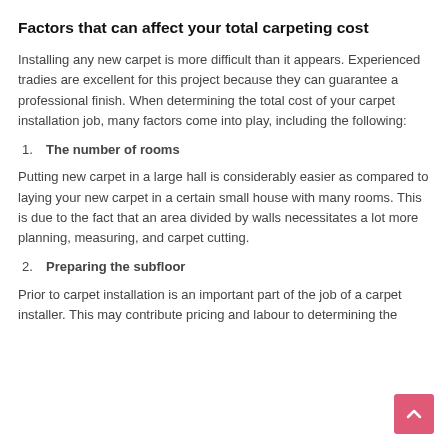Factors that can affect your total carpeting cost
Installing any new carpet is more difficult than it appears. Experienced tradies are excellent for this project because they can guarantee a professional finish. When determining the total cost of your carpet installation job, many factors come into play, including the following:
1. The number of rooms
Putting new carpet in a large hall is considerably easier as compared to laying your new carpet in a certain small house with many rooms. This is due to the fact that an area divided by walls necessitates a lot more planning, measuring, and carpet cutting.
2. Preparing the subfloor
Prior to carpet installation is an important part of the job of a carpet installer. This may contribute pricing and labour to determining the...